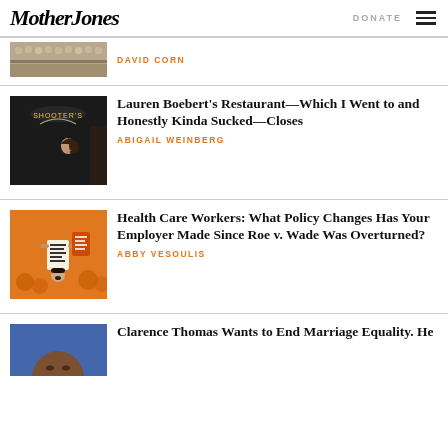Mother Jones
DAVID CORN
Lauren Boebert's Restaurant—Which I Went to and Honestly Kinda Sucked—Closes
ABIGAIL WEINBERG
Health Care Workers: What Policy Changes Has Your Employer Made Since Roe v. Wade Was Overturned?
ABBY VESOULIS
Clarence Thomas Wants to End Marriage Equality. He
[Figure (photo): Congressional hearing room photo]
[Figure (photo): Lauren Boebert standing in front of a restaurant with neon sign]
[Figure (photo): Protesters in orange holding signs about abortion rights]
[Figure (photo): Partial photo of Clarence Thomas]